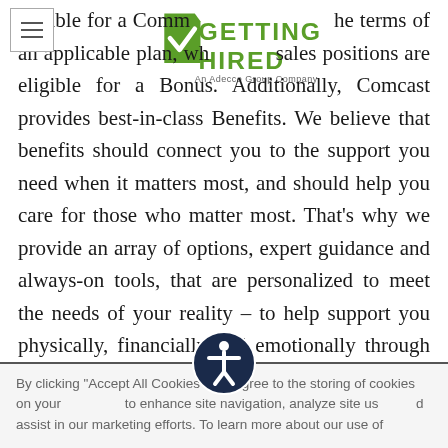[Figure (logo): Getting Hired logo - An Adecco Group Company]
eligible for a Commission under the terms of an applicable plan, while sales positions are eligible for a Bonus. Additionally, Comcast provides best-in-class Benefits. We believe that benefits should connect you to the support you need when it matters most, and should help you care for those who matter most. That's why we provide an array of options, expert guidance and always-on tools, that are personalized to meet the needs of your reality – to help support you physically, financially and emotionally through the big milestones and in your everyday life. Please visit the [Register to View] on our careers site for more details.
By clicking "Accept All Cookies" you agree to the storing of cookies on your device to enhance site navigation, analyze site use, and assist in our marketing efforts. To learn more about our use of